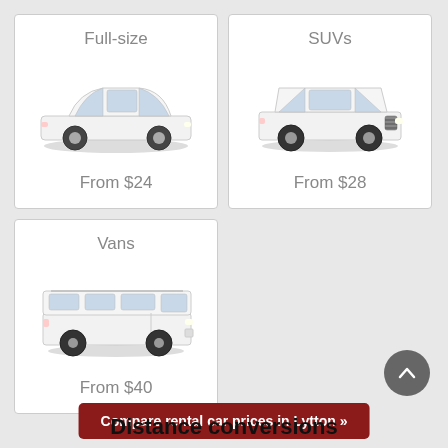[Figure (illustration): White full-size sedan car illustration, card with title 'Full-size' and price 'From $24']
[Figure (illustration): White SUV car illustration, card with title 'SUVs' and price 'From $28']
[Figure (illustration): White van illustration, card with title 'Vans' and price 'From $40']
Compare rental car prices in Lytton »
Distance conversions